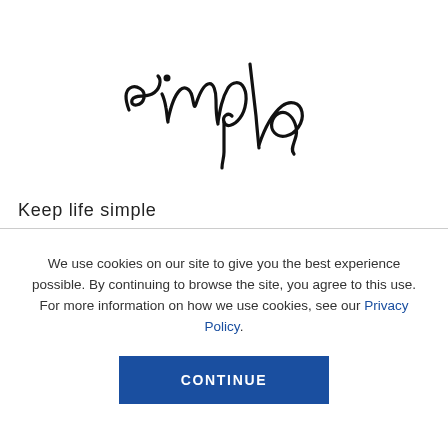[Figure (logo): Handwritten cursive 'simple' logo in black ink]
Keep life simple
We use cookies on our site to give you the best experience possible. By continuing to browse the site, you agree to this use. For more information on how we use cookies, see our Privacy Policy.
CONTINUE